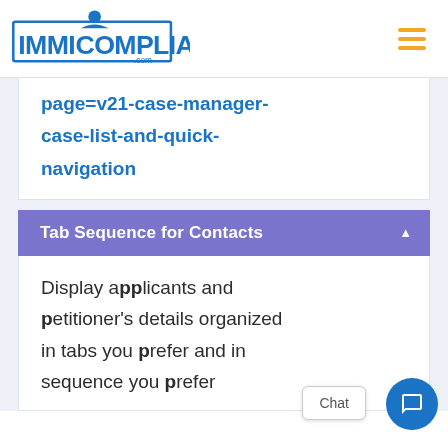ImmiCompliance.com
page=v21-case-manager-case-list-and-quick-navigation
Tab Sequence for Contacts
Display applicants and petitioner's details organized in tabs you prefer and in sequence you prefer